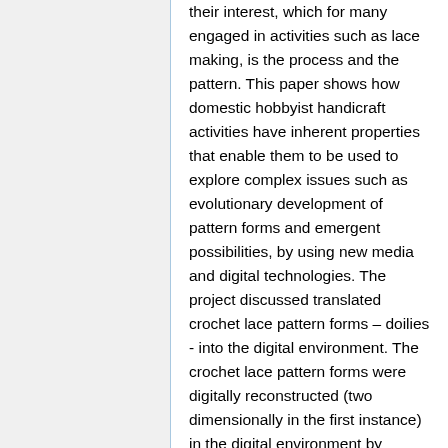their interest, which for many engaged in activities such as lace making, is the process and the pattern. This paper shows how domestic hobbyist handicraft activities have inherent properties that enable them to be used to explore complex issues such as evolutionary development of pattern forms and emergent possibilities, by using new media and digital technologies. The project discussed translated crochet lace pattern forms – doilies - into the digital environment. The crochet lace pattern forms were digitally reconstructed (two dimensionally in the first instance) in the digital environment by writing computer software scripts to create onscreen images, emulating the process of construction of a crochet lace patterns. Once the rules for the construction of a pattern form had been translated into